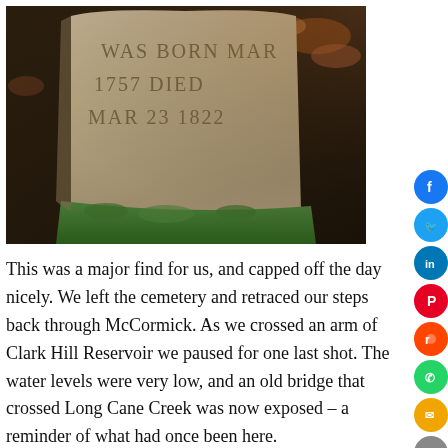[Figure (photo): Weathered stone grave marker with carved inscription: 'WAS BORN MAR 1757 DIED MAR 23 1822', surrounded by green moss and fallen leaves]
This was a major find for us, and capped off the day nicely. We left the cemetery and retraced our steps back through McCormick. As we crossed an arm of Clark Hill Reservoir we paused for one last shot. The water levels were very low, and an old bridge that crossed Long Cane Creek was now exposed – a reminder of what had once been here.